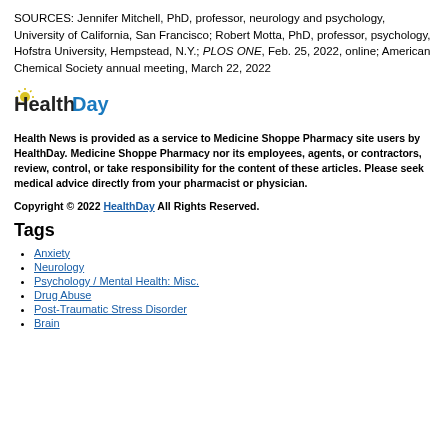SOURCES: Jennifer Mitchell, PhD, professor, neurology and psychology, University of California, San Francisco; Robert Motta, PhD, professor, psychology, Hofstra University, Hempstead, N.Y.; PLOS ONE, Feb. 25, 2022, online; American Chemical Society annual meeting, March 22, 2022
[Figure (logo): HealthDay logo — 'Health' in dark text with a yellow sun graphic on the 'h', 'Day' in blue text]
Health News is provided as a service to Medicine Shoppe Pharmacy site users by HealthDay. Medicine Shoppe Pharmacy nor its employees, agents, or contractors, review, control, or take responsibility for the content of these articles. Please seek medical advice directly from your pharmacist or physician.
Copyright © 2022 HealthDay All Rights Reserved.
Tags
Anxiety
Neurology
Psychology / Mental Health: Misc.
Drug Abuse
Post-Traumatic Stress Disorder
Brain